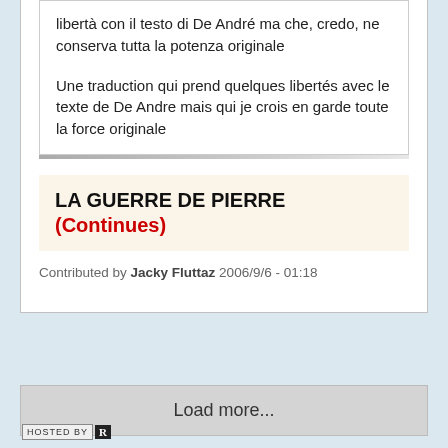libertà con il testo di De André ma che, credo, ne conserva tutta la potenza originale
Une traduction qui prend quelques libertés avec le texte de De Andre mais qui je crois en garde toute la force originale
LA GUERRE DE PIERRE (Continues)
Contributed by Jacky Fluttaz 2006/9/6 - 01:18
Load more...
HOSTED BY R